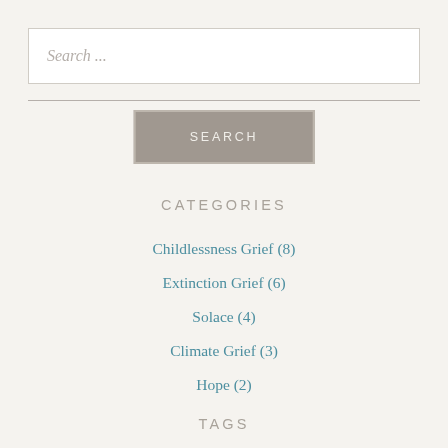Search ...
[Figure (other): Search button with grey background and border]
CATEGORIES
Childlessness Grief (8)
Extinction Grief (6)
Solace (4)
Climate Grief (3)
Hope (2)
TAGS